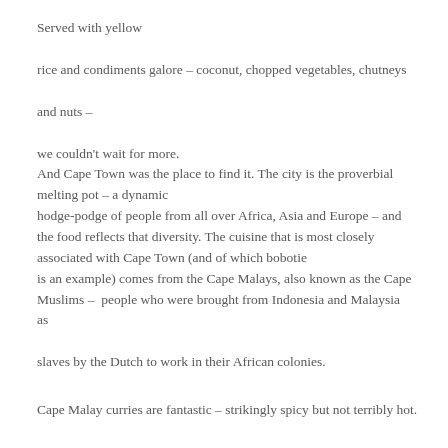Served with yellow

rice and condiments galore – coconut, chopped vegetables, chutneys

and nuts –

we couldn't wait for more.
And Cape Town was the place to find it. The city is the proverbial melting pot – a dynamic
hodge-podge of people from all over Africa, Asia and Europe – and the food reflects that diversity. The cuisine that is most closely associated with Cape Town (and of which bobotie
is an example) comes from the Cape Malays, also known as the Cape Muslims –  people who were brought from Indonesia and Malaysia as
slaves by the Dutch to work in their African colonies.
Cape Malay curries are fantastic – strikingly spicy but not terribly hot.